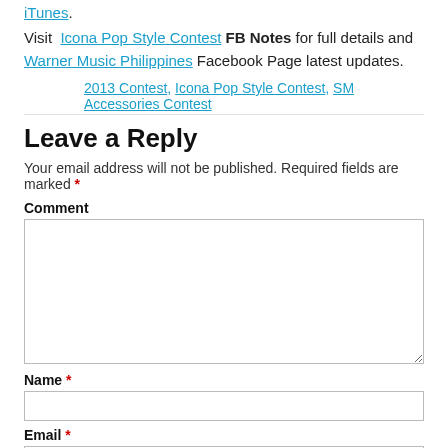iTunes.
Visit Icona Pop Style Contest FB Notes for full details and Warner Music Philippines Facebook Page latest updates.
2013 Contest, Icona Pop Style Contest, SM Accessories Contest
Leave a Reply
Your email address will not be published. Required fields are marked *
Comment
Name *
Email *